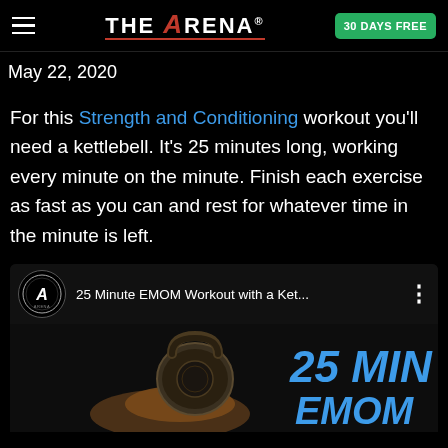THE ARENA® | 30 DAYS FREE
May 22, 2020
For this Strength and Conditioning workout you'll need a kettlebell. It's 25 minutes long, working every minute on the minute. Finish each exercise as fast as you can and rest for whatever time in the minute is left.
[Figure (screenshot): Video card showing '25 Minute EMOM Workout with a Ket...' with The Arena channel icon and thumbnail showing kettlebell with '25 MIN EMOM' text overlay in blue]